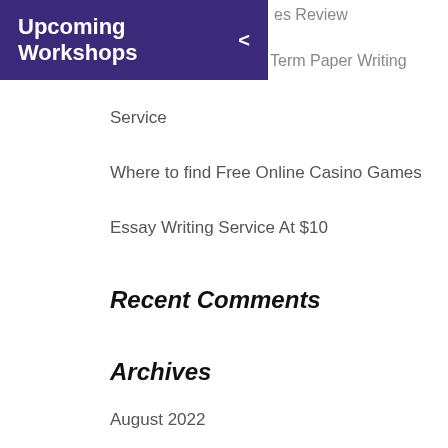es Review
Upcoming Workshops <
Term Paper Writing Service
Where to find Free Online Casino Games
Essay Writing Service At $10
Recent Comments
Archives
August 2022
July 2022
June 2022
May 2022
April 2022
March 2022
February 2022